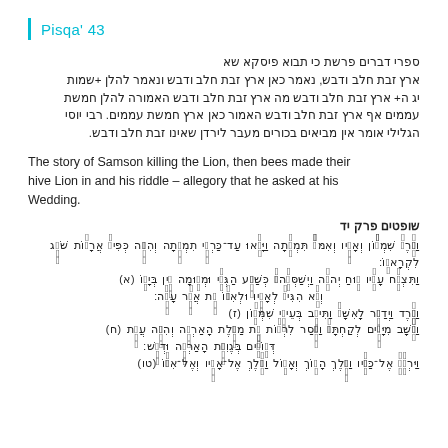Pisqa' 43
ספרי דברים פרשת כי תבוא פיסקא שא
ארץ זבת חלב ודבש, נאמר כאן ארץ זבת חלב ודבש ונאמר להלן +שמות יג ה+ ארץ זבת חלב ודבש מה ארץ זבת חלב ודבש האמורה להלן חמשת עממים אף ארץ זבת חלב ודבש האמור כאן ארץ חמשת עממים. רבי יוסי הגלילי אומר אין מביאים בכורים מעבר לירדן שאינו זבת חלב ודבש.
The story of Samson killing the Lion, then bees made their hive Lion in and his riddle – allegory that he asked at his Wedding.
שופטים פרק יד
וַיֵּרֶד שִׁמְשׁוֹן וְאָבִיו וְאִמּוֹ תִּמְנָתָה וַיָּבֹאוּ עַד־כַּרְמֵי תִמְנָתָה וְהִנֵּה כְּפִיר אֲרָיוֹת שֹׁאֵג לִקְרָאתוֹ:
וַתִּצְלַח עָלָיו רוּחַ יְהוָה וַיְשַׁסְּעֵהוּ כְּשַׁסַּע הַגְּדִי וּמְאוּמָה אֵין בְּיָדוֹ (א)
וְלֹא הִגִּיד לְאָבִיו וּלְאִמּוֹ אֵת אֲשֶׁר עָשָׂה:
וַיֵּרֶד וַיְדַבֵּר לָאִשָּׁה וַתִּיטַב בְּעֵינֵי שִׁמְשׁוֹן (ז)
וַיָּשָׁב מִיָּמִים לְקַחְתָּהּ וַיָּסַר לִרְאוֹת אֵת מַפֶּלֶת הָאַרְיֵה וְהִנֵּה עֲדַת (ח)
דְּבוֹרִים בְּגֶוִיַּת הָאַרְיֵה וּדְבָשׁ:
וַיִּרְדֶּהָ אֶל־כַּפָּיו וַיֵּלֶךְ הָלוֹךְ וְאָכֹל וַיֵּלֶךְ אֶל־אָבִיו וְאֶל־אִמּוֹ (טו)